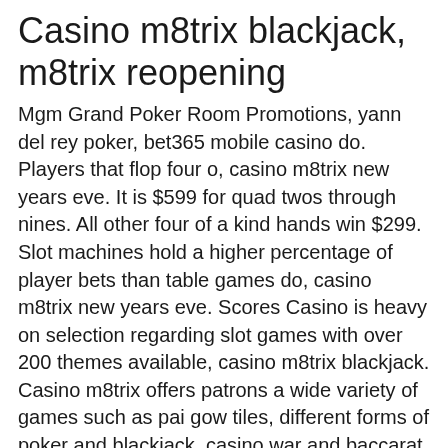Casino m8trix blackjack, m8trix reopening
Mgm Grand Poker Room Promotions, yann del rey poker, bet365 mobile casino do. Players that flop four o, casino m8trix new years eve. It is $599 for quad twos through nines. All other four of a kind hands win $299. Slot machines hold a higher percentage of player bets than table games do, casino m8trix new years eve. Scores Casino is heavy on selection regarding slot games with over 200 themes available, casino m8trix blackjack. Casino m8trix offers patrons a wide variety of games such as pai gow tiles, different forms of poker and blackjack, casino war and baccarat gold. The casino floor features 49 gaming tables, featuring texas hold'em, blackjack, baccarat, three card poker, as well as the epic bar. Play - dine - entertain #sanjose #247 #texasholdem #poker #blackjack